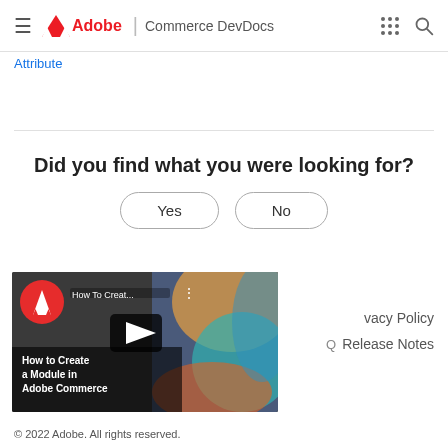Adobe | Commerce DevDocs
Attribute
Did you find what you were looking for?
[Figure (screenshot): Yes and No pill-shaped buttons for user feedback]
[Figure (screenshot): YouTube-style video thumbnail for 'How to Create a Module in Adobe Commerce' with play button overlay]
Privacy Policy
Release Notes
© 2022 Adobe. All rights reserved.